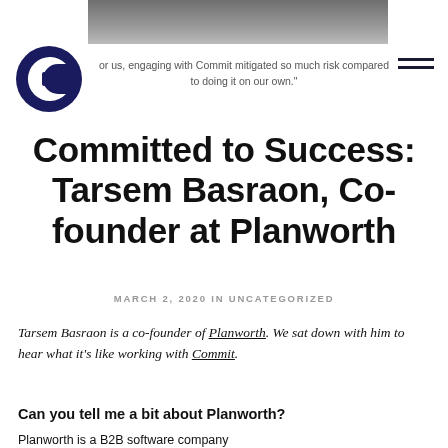[Figure (photo): Partial photo of a man in a dark suit, cropped at the top of the page]
[Figure (logo): Commit company logo — dark navy circular logo with a stylized 'C' shape]
or us, engaging with Commit mitigated so much risk compared to doing it on our own."
Committed to Success: Tarsem Basraon, Co-founder at Planworth
MARCH 2, 2020 IN UNCATEGORIZED
Tarsem Basraon is a co-founder of Planworth. We sat down with him to hear what it’s like working with Commit.
Can you tell me a bit about Planworth?
Planworth is a B2B software company...